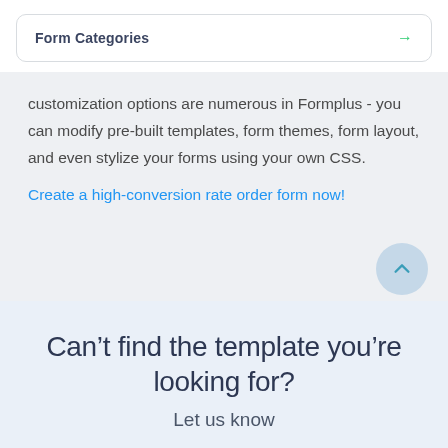Form Categories →
customization options are numerous in Formplus - you can modify pre-built templates, form themes, form layout, and even stylize your forms using your own CSS.
Create a high-conversion rate order form now!
Can't find the template you're looking for?
Let us know